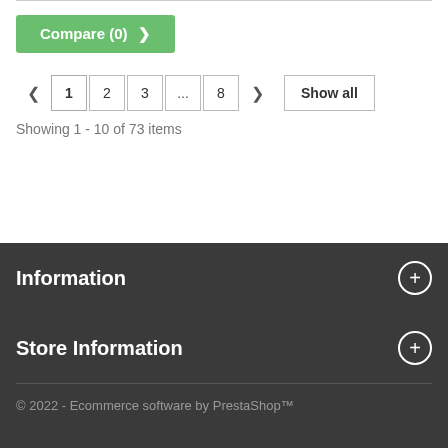Compare (0) >
< 1 2 3 ... 8 > Show all
Showing 1 - 10 of 73 items
Information
Store Information
© 2022 - Ecommerce software by PrestaShop™